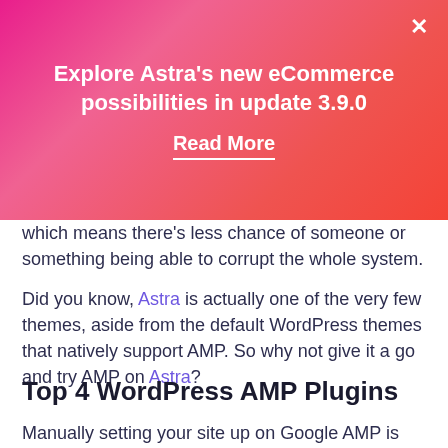[Figure (infographic): Pink-to-red gradient promotional banner with white text reading 'Explore Astra's new eCommerce possibilities in update 3.9.0' and a 'Read More' link with underline, and an X close button in the top right corner.]
which means there's less chance of someone or something being able to corrupt the whole system.
Did you know, Astra is actually one of the very few themes, aside from the default WordPress themes that natively support AMP. So why not give it a go and try AMP on Astra?
Top 4 WordPress AMP Plugins
Manually setting your site up on Google AMP is complicated. Fortunately, there are plenty of AMP